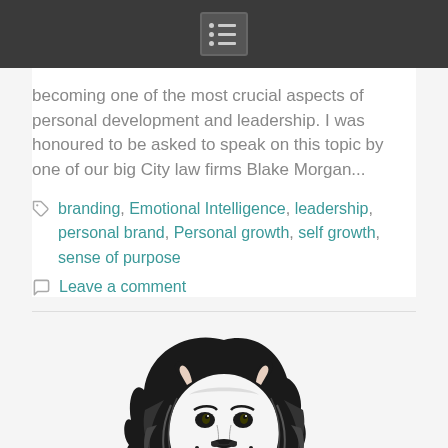[navigation menu bar]
becoming one of the most crucial aspects of personal development and leadership. I was honoured to be asked to speak on this topic by one of our big City law firms Blake Morgan...
branding, Emotional Intelligence, leadership, personal brand, Personal growth, self growth, sense of purpose
Leave a comment
[Figure (illustration): Black and white stylized lion head logo facing left, with mane rendered as flowing lines]